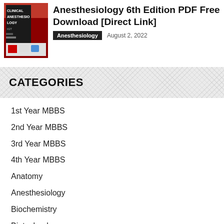[Figure (photo): Book cover of Clinical Anesthesiology 6th Edition with red and dark design]
Anesthesiology 6th Edition PDF Free Download [Direct Link]
Anesthesiology   August 2, 2022
CATEGORIES
1st Year MBBS
2nd Year MBBS
3rd Year MBBS
4th Year MBBS
Anatomy
Anesthesiology
Biochemistry
Biotechnology
Cardiology